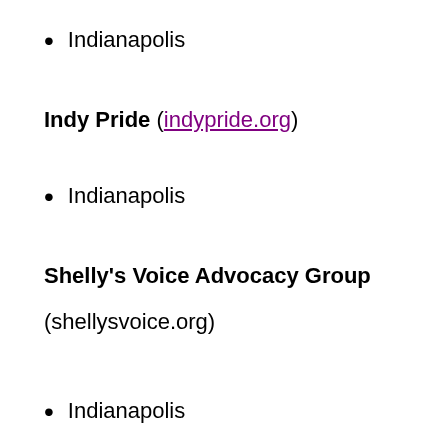Indianapolis
Indy Pride (indypride.org)
Indianapolis
Shelly's Voice Advocacy Group (shellysvoice.org)
Indianapolis